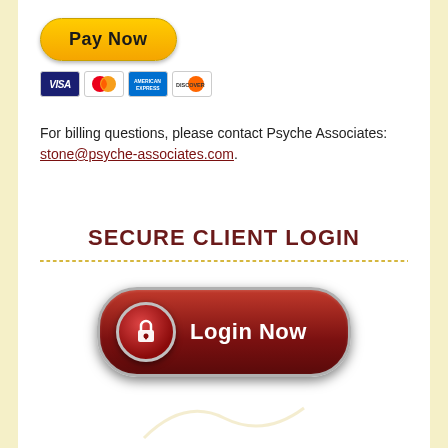[Figure (other): PayPal Pay Now button with credit card icons (Visa, Mastercard, American Express, Discover)]
For billing questions, please contact Psyche Associates: stone@psyche-associates.com.
SECURE CLIENT LOGIN
[Figure (other): Dark red rounded Login Now button with lock icon]